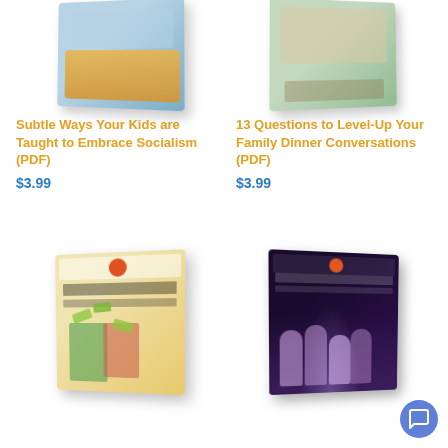[Figure (illustration): Book cover illustration for 'Subtle Ways Your Kids are Taught to Embrace Socialism (PDF)' — colorful illustrated book showing a street/trolley scene]
Subtle Ways Your Kids are Taught to Embrace Socialism (PDF)
$3.99
[Figure (illustration): Book cover illustration for '13 Questions to Level-Up Your Family Dinner Conversations (PDF)' — illustrated book showing a family dinner scene]
13 Questions to Level-Up Your Family Dinner Conversations (PDF)
$3.99
[Figure (illustration): Book cover for 'Tips for Raising an Entrepreneur' — illustrated children's book with kids and money]
[Figure (illustration): Book cover for '10 Important Facts About the Declaration of Independence' — dark cover with group of people]